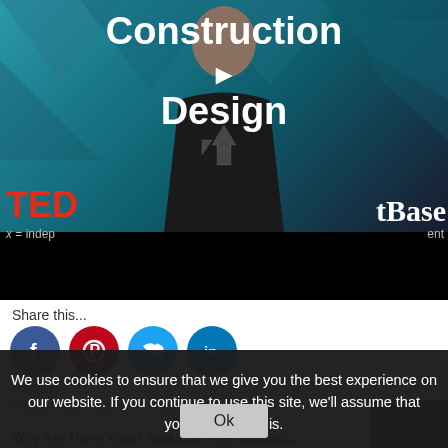[Figure (screenshot): Video thumbnail showing a TED talk speaker in a dark shirt against a teal geometric background, with 'Construction Design' title and play icon overlay]
Share this...
[Figure (infographic): Social sharing icons: Facebook (blue), Pinterest (red), Twitter (blue), LinkedIn (blue)]
We use cookies to ensure that we give you the best experience on our website. If you continue to use this site, we'll assume that you're ok with this.
Ok
Previous
Using Timber and Wire Mesh To...
Why Are There Water Tanks On The Rooftop...